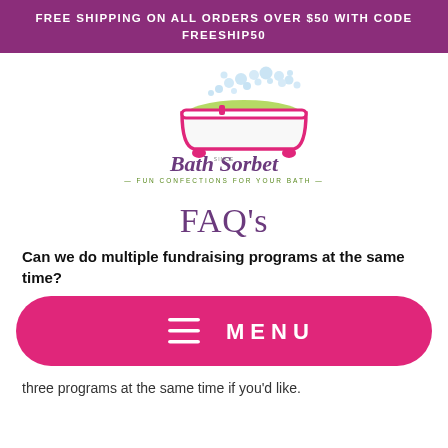FREE SHIPPING ON ALL ORDERS OVER $50 WITH CODE FREESHIP50
[Figure (logo): Bath Sorbet logo with a pink bathtub illustration, bubbles, and green accent. Text reads 'Bath Sorbet' with tagline 'FUN CONFECTIONS FOR YOUR BATH']
FAQ's
Can we do multiple fundraising programs at the same time?
[Figure (screenshot): Pink rounded rectangle MENU button with hamburger icon]
three programs at the same time if you'd like.